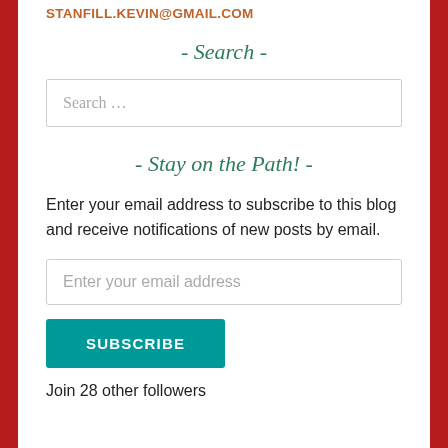STANFILL.KEVIN@GMAIL.COM
- Search -
Search …
- Stay on the Path! -
Enter your email address to subscribe to this blog and receive notifications of new posts by email.
Enter your email address
SUBSCRIBE
Join 28 other followers